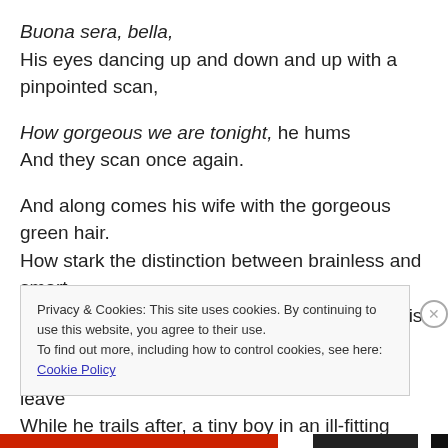Buona sera, bella,
His eyes dancing up and down and up with a pinpointed scan,
How gorgeous we are tonight, he hums
And they scan once again.

And along comes his wife with the gorgeous green hair.
How stark the distinction between brainless and smart,
How completely ridiculous he seems playing his part.
And with grace and confidence she takes her leave
While he trails after, a tiny boy in an ill-fitting linen suit.
Privacy & Cookies: This site uses cookies. By continuing to use this website, you agree to their use.
To find out more, including how to control cookies, see here: Cookie Policy